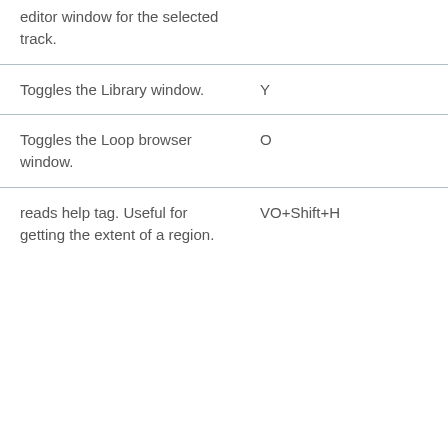editor window for the selected track.
Toggles the Library window.	Y
Toggles the Loop browser window.	O
reads help tag. Useful for getting the extent of a region.	VO+Shift+H